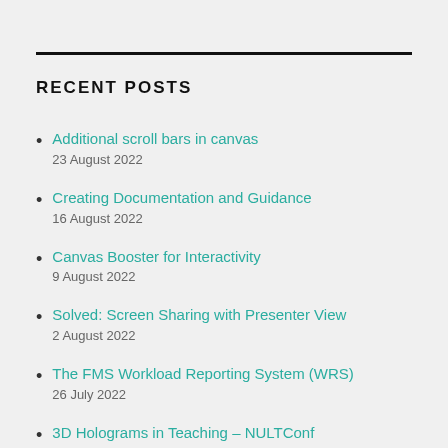RECENT POSTS
Additional scroll bars in canvas
23 August 2022
Creating Documentation and Guidance
16 August 2022
Canvas Booster for Interactivity
9 August 2022
Solved: Screen Sharing with Presenter View
2 August 2022
The FMS Workload Reporting System (WRS)
26 July 2022
3D Holograms in Teaching – NULTConf
19 July 2022